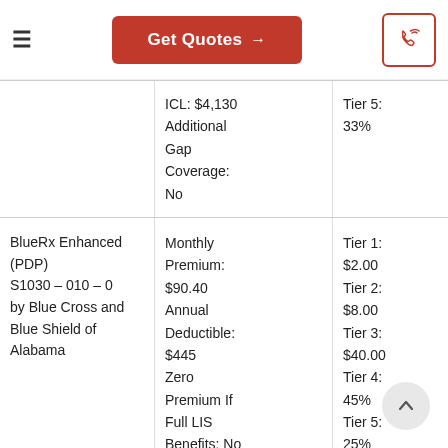Get Quotes →
| Plan | Plan Details | Drug Costs |
| --- | --- | --- |
|  | ICL: $4,130
Additional Gap Coverage: No | Tier 5: 33% |
| BlueRx Enhanced (PDP)
S1030 – 010 – 0
by Blue Cross and Blue Shield of Alabama | Monthly Premium: $90.40
Annual Deductible: $445
Zero Premium If Full LIS Benefits: No
ICL: $4,130
Additional | Tier 1: $2.00
Tier 2: $8.00
Tier 3: $40.00
Tier 4: 45%
Tier 5: 25% |